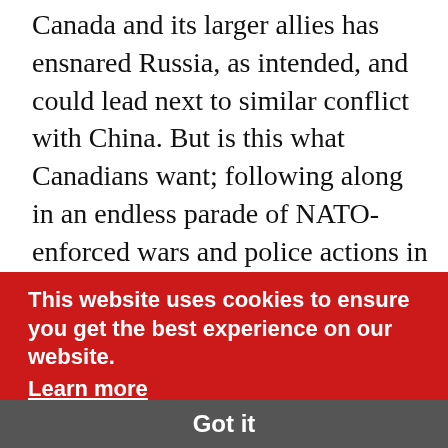Canada and its larger allies has ensnared Russia, as intended, and could lead next to similar conflict with China. But is this what Canadians want; following along in an endless parade of NATO-enforced wars and police actions in support of a failing U.S. empire?
John Price is professor emeritus at the University of Victoria, and member of the Advisory Board of the newly formed Canada-China Focus, a project of the Canadian Foreign Policy Institute and UVic's Centre for Global Studies. He is too author of the book, 'Orienting Canada,' and his essays appear at Canadian Dimension.com, where I found his eight-part series "investigating the crisis in
This website uses cookies to ensure you get the best experience on our website.
Learn more
Got it